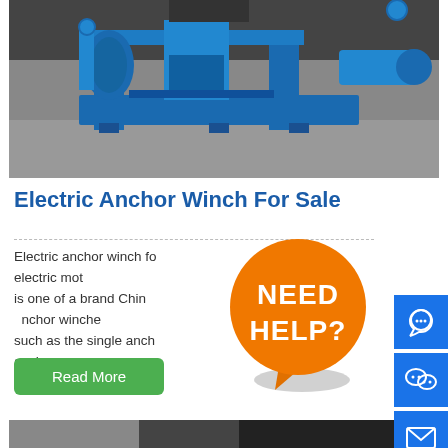[Figure (photo): Large blue electric anchor winch machine photographed in a warehouse/factory setting. The winch is painted blue and sits on a concrete floor.]
Electric Anchor Winch For Sale
Electric anchor winch fo... electric mot is one of a brand China... anchor winche such as the single anch... ouble anchor chain ...
[Figure (infographic): Orange speech bubble with white text reading NEED HELP?]
[Figure (other): Right sidebar with blue icon buttons: phone/WhatsApp, WeChat, email, phone call]
[Figure (photo): Bottom strip preview of another product image]